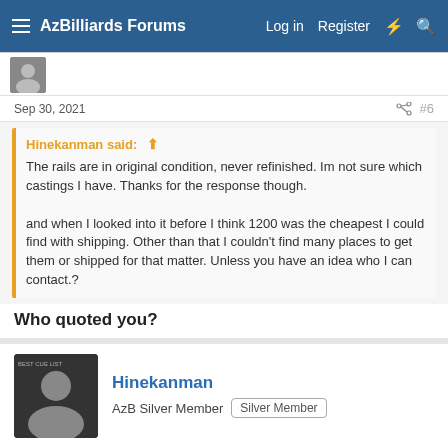AzBilliards Forums   Log in   Register
Sep 30, 2021   #6
Hinekanman said: ↑

The rails are in original condition, never refinished. Im not sure which castings I have. Thanks for the response though.

and when I looked into it before I think 1200 was the cheapest I could find with shipping. Other than that I couldn't find many places to get them or shipped for that matter. Unless you have an idea who I can contact.?
Who quoted you?
Hinekanman
AzB Silver Member  Silver Member
Sep 30, 2021   #7